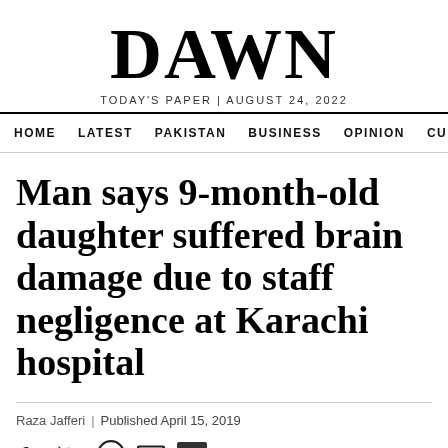DAWN
TODAY'S PAPER | AUGUST 24, 2022
HOME  LATEST  PAKISTAN  BUSINESS  OPINION  CULTURE
Man says 9-month-old daughter suffered brain damage due to staff negligence at Karachi hospital
Raza Jafferi | Published April 15, 2019
26